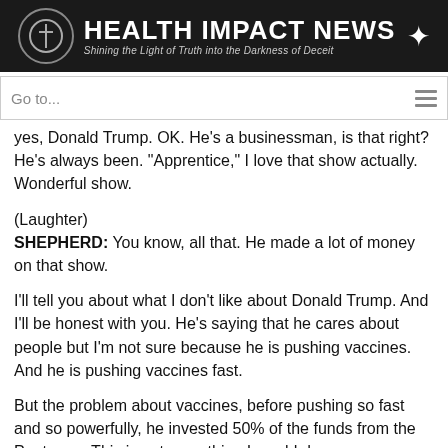HEALTH IMPACT NEWS — Shining the Light of Truth into the Darkness of Deceit
Go to...
yes, Donald Trump. OK. He's a businessman, is that right? He's always been. "Apprentice," I love that show actually. Wonderful show.
(Laughter)
SHEPHERD: You know, all that. He made a lot of money on that show.
I'll tell you about what I don't like about Donald Trump. And I'll be honest with you. He's saying that he cares about people but I'm not sure because he is pushing vaccines. And he is pushing vaccines fast.
But the problem about vaccines, before pushing so fast and so powerfully, he invested 50% of the funds from the Pentagon. This is not something I would do.